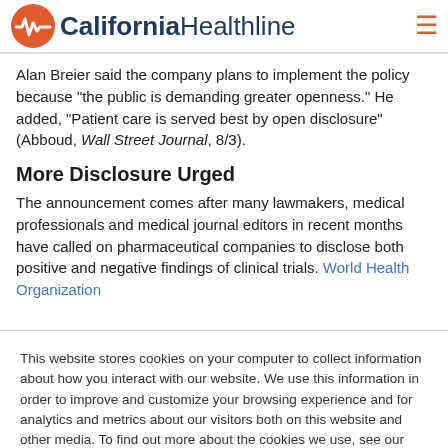California Healthline
Alan Breier said the company plans to implement the policy because "the public is demanding greater openness." He added, "Patient care is served best by open disclosure" (Abboud, Wall Street Journal, 8/3).
More Disclosure Urged
The announcement comes after many lawmakers, medical professionals and medical journal editors in recent months have called on pharmaceutical companies to disclose both positive and negative findings of clinical trials. World Health Organization officials last month said they plan to propose an international clinical
This website stores cookies on your computer to collect information about how you interact with our website. We use this information in order to improve and customize your browsing experience and for analytics and metrics about our visitors both on this website and other media. To find out more about the cookies we use, see our Privacy Policy.